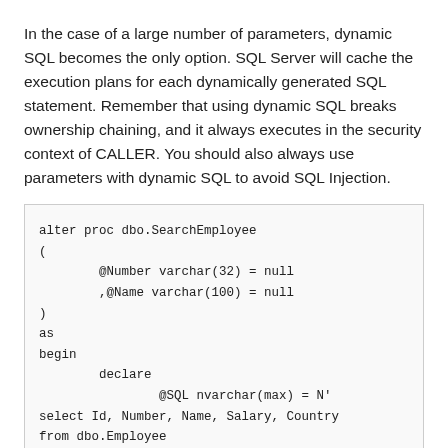In the case of a large number of parameters, dynamic SQL becomes the only option. SQL Server will cache the execution plans for each dynamically generated SQL statement. Remember that using dynamic SQL breaks ownership chaining, and it always executes in the security context of CALLER. You should also always use parameters with dynamic SQL to avoid SQL Injection.
alter proc dbo.SearchEmployee
(
        @Number varchar(32) = null
        ,@Name varchar(100) = null
)
as
begin
        declare
                @SQL nvarchar(max) = N'
select Id, Number, Name, Salary, Country
from dbo.Employee